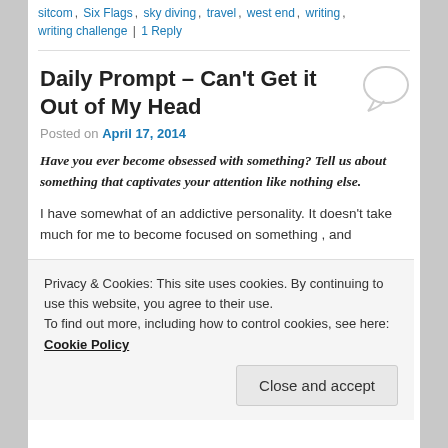sitcom, Six Flags, sky diving, travel, west end, writing, writing challenge | 1 Reply
Daily Prompt – Can't Get it Out of My Head
Posted on April 17, 2014
Have you ever become obsessed with something? Tell us about something that captivates your attention like nothing else.
I have somewhat of an addictive personality. It doesn't take much for me to become focused on something , and
Privacy & Cookies: This site uses cookies. By continuing to use this website, you agree to their use.
To find out more, including how to control cookies, see here: Cookie Policy